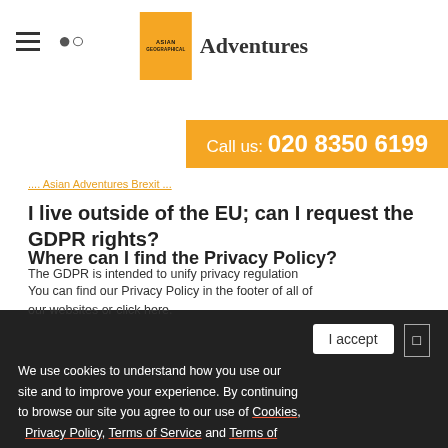Asian Geographical Adventures — Call us: 020 8350 6199
...Asian Adventures Brexit...
I live outside of the EU; can I request the GDPR rights?
The GDPR is intended to unify privacy regulation across the EU and does not apply outside of the EU...
We use cookies to understand how you use our site and to improve your experience. By continuing to browse our site you agree to our use of Cookies, Privacy Policy, Terms of Service and Terms of Use.
Where can I find the Privacy Policy?
You can find our Privacy Policy in the footer of all of our websites or click here.